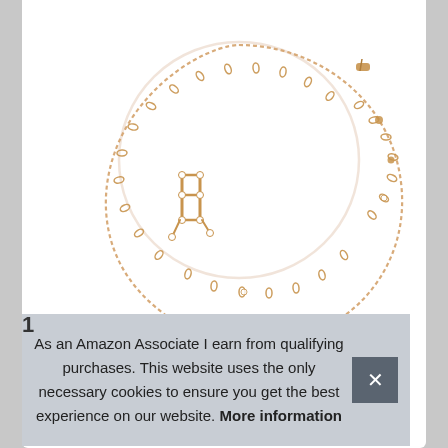[Figure (photo): Gold constellation bracelet with delicate chain and gemstone-studded star pattern charm, photographed on white background]
As an Amazon Associate I earn from qualifying purchases. This website uses the only necessary cookies to ensure you get the best experience on our website. More information